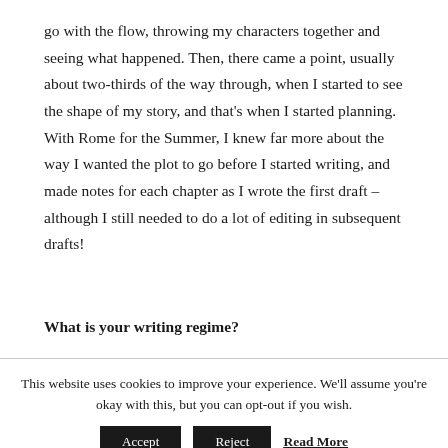go with the flow, throwing my characters together and seeing what happened. Then, there came a point, usually about two-thirds of the way through, when I started to see the shape of my story, and that’s when I started planning. With Rome for the Summer, I knew far more about the way I wanted the plot to go before I started writing, and made notes for each chapter as I wrote the first draft – although I still needed to do a lot of editing in subsequent drafts!
What is your writing regime?
This website uses cookies to improve your experience. We'll assume you're okay with this, but you can opt-out if you wish.